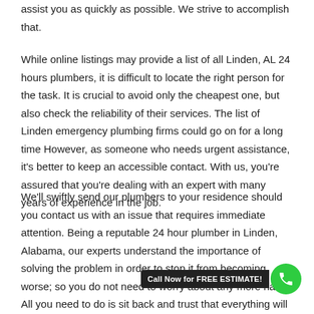assist you as quickly as possible. We strive to accomplish that.
While online listings may provide a list of all Linden, AL 24 hours plumbers, it is difficult to locate the right person for the task. It is crucial to avoid only the cheapest one, but also check the reliability of their services. The list of Linden emergency plumbing firms could go on for a long time However, as someone who needs urgent assistance, it's better to keep an accessible contact. With us, you're assured that you're dealing with an expert with many years of experience in the job.
We'll swiftly send our plumbers to your residence should you contact us with an issue that requires immediate attention. Being a reputable 24 hour plumber in Linden, Alabama, our experts understand the importance of solving the problem in order to stop it from becoming worse; so you do not need to worry about any more harm. All you need to do is sit back and trust that everything will be taken into consideration.